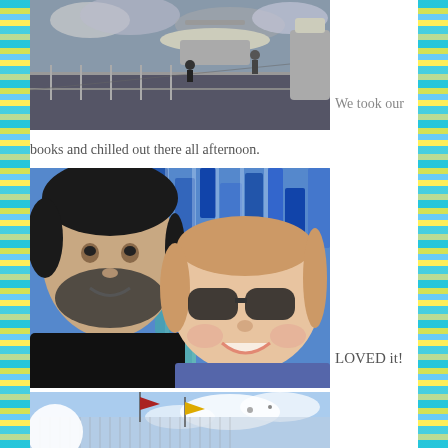[Figure (photo): Photo of a cruise ship deck area with a circular structure/bar on top, railing, and people visible. Overcast sky in background.]
We took our books and chilled out there all afternoon.
[Figure (photo): Selfie of a bearded man and a woman wearing sunglasses, with a blue mosaic tile wall in the background.]
LOVED it!
[Figure (photo): Photo of a cruise ship exterior showing flags, a large white dome/sphere, and blue sky with clouds.]